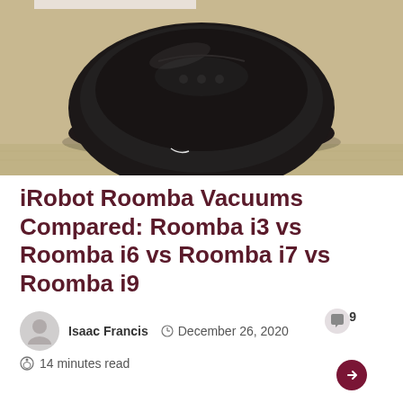[Figure (photo): Top-down photo of a dark circular iRobot Roomba robot vacuum on a light wood floor]
iRobot Roomba Vacuums Compared: Roomba i3 vs Roomba i6 vs Roomba i7 vs Roomba i9
Isaac Francis   December 26, 2020   9   14 minutes read